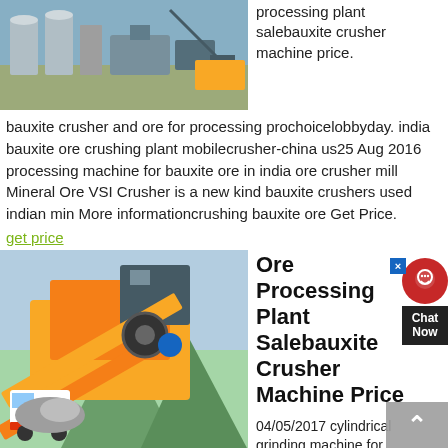[Figure (photo): Industrial processing plant with machinery and silos in outdoor setting]
processing plant salebauxite crusher machine price.
bauxite crusher and ore for processing prochoicelobbyday. india bauxite ore crushing plant mobilecrusher-china us25 Aug 2016 processing machine for bauxite ore in india ore crusher mill Mineral Ore VSI Crusher is a new kind bauxite crushers used indian min More informationcrushing bauxite ore Get Price.
get price
[Figure (photo): Large yellow ore crusher machine in outdoor mining site]
Ore Processing Plant Salebauxite Crusher Machine Price
04/05/2017 cylindrical grinding machine for salebauxite mining . bauxite ore mining equipment stone crusher machine. Bauxite Ore Crushing Equipment nignian bauxite mining plant crusher machine nignia is a global producer of